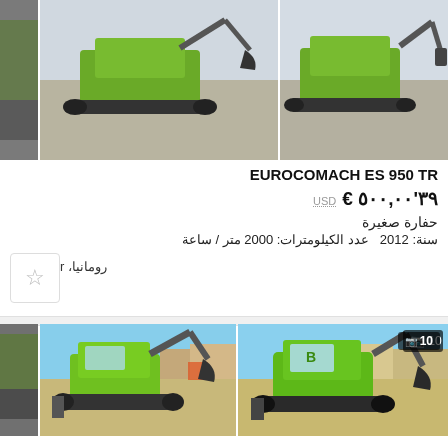[Figure (photo): Partial left image of green compact excavator on concrete surface]
[Figure (photo): Green compact excavator with bucket attachment, top view, on concrete]
[Figure (photo): Green compact excavator with rotating attachment, on concrete surface]
EUROCOMACH ES 950 TR
€ ٣٩'٥٠٠,٠٠  USD
حفارة صغيرة
سنة: 2012  عدد الكيلومترات: 2000 متر / ساعة
رومانيا، Bihor
[Figure (photo): Partial left image of green compact excavator outdoors]
[Figure (photo): Green compact excavator parked outdoors near warehouse buildings]
[Figure (photo): Green compact excavator side view outdoors near buildings, photo count badge showing 10]
EUROCOMACH ES 950 TR